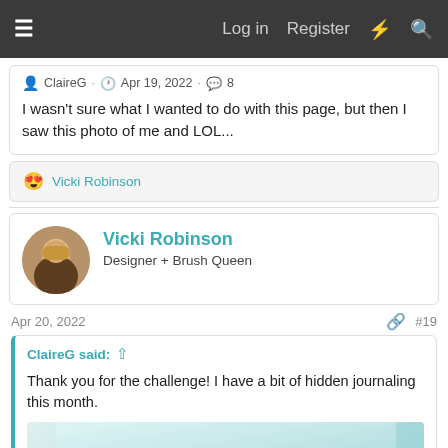≡  Log in  Register  ⚡  🔍
ClaireG · Apr 19, 2022 · 8
I wasn't sure what I wanted to do with this page, but then I saw this photo of me and LOL...
😍 Vicki Robinson
Vicki Robinson
Designer + Brush Queen
Apr 20, 2022  #19
ClaireG said: ↑
Thank you for the challenge! I have a bit of hidden journaling this month.
[Figure (photo): Partial view of a scrapbook page with teal/mint watercolor background and some stamped or painted marks]